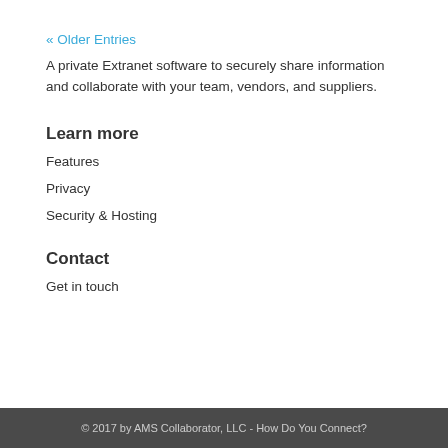« Older Entries
A private Extranet software to securely share information and collaborate with your team, vendors, and suppliers.
Learn more
Features
Privacy
Security & Hosting
Contact
Get in touch
© 2017 by AMS Collaborator, LLC - How Do You Connect?